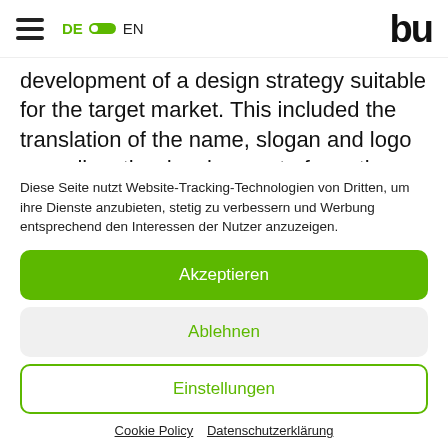DE  EN  [logo: bu]
development of a design strategy suitable for the target market. This included the translation of the name, slogan and logo as well as the development of creative campaign ideas and corresponding visuals
Diese Seite nutzt Website-Tracking-Technologien von Dritten, um ihre Dienste anzubieten, stetig zu verbessern und Werbung entsprechend den Interessen der Nutzer anzuzeigen.
Akzeptieren
Ablehnen
Einstellungen
Cookie Policy   Datenschutzerklärung